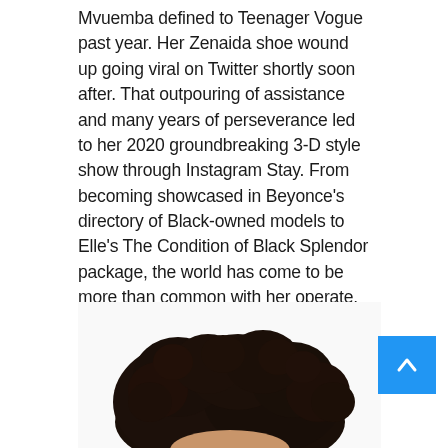Mvuemba defined to Teenager Vogue past year. Her Zenaida shoe wound up going viral on Twitter shortly soon after. That outpouring of assistance and many years of perseverance led to her 2020 groundbreaking 3-D style show through Instagram Stay. From becoming showcased in Beyonce's directory of Black-owned models to Elle's The Condition of Black Splendor package, the world has come to be more than common with her operate. Now the designer's clothing can be located on absolutely everyone from Zendaya to Quinta Brunson, proving that she has often been ahead of her time.
[Figure (photo): Photo of a person with voluminous dark curly hair, visible from approximately chin/neck level up, on a white background.]